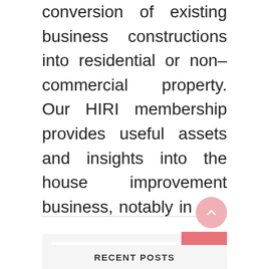conversion of existing business constructions into residential or non-commercial property. Our HIRI membership provides useful assets and insights into the house improvement business, notably in ...
[Figure (other): Search widget with text input field showing placeholder 'Search' and a pink/salmon colored search button with magnifying glass icon]
[Figure (other): Scroll-to-top button: circular pink button with upward chevron arrow]
RECENT POSTS